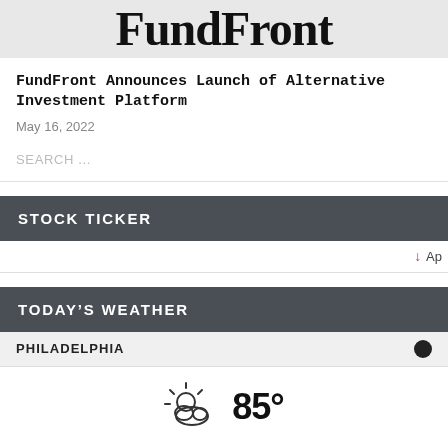[Figure (logo): FundFront logo on light gray background]
FundFront Announces Launch of Alternative Investment Platform
May 16, 2022
SEARCH ...
STOCK TICKER
↓ Ap
TODAY'S WEATHER
PHILADELPHIA
[Figure (illustration): Partly cloudy weather icon with sun and cloud, temperature showing 85°]